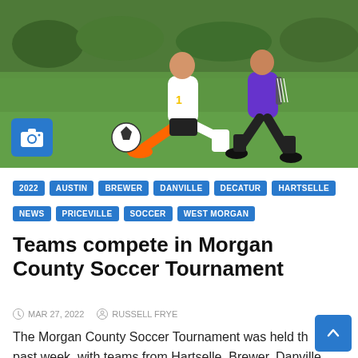[Figure (photo): Soccer players competing on a grass field. One player in white/orange kit and another in purple/black kit running near a soccer ball.]
2022
AUSTIN
BREWER
DANVILLE
DECATUR
HARTSELLE
NEWS
PRICEVILLE
SOCCER
WEST MORGAN
Teams compete in Morgan County Soccer Tournament
MAR 27, 2022   RUSSELL FRYE
The Morgan County Soccer Tournament was held this past week, with teams from Hartselle, Brewer, Danville